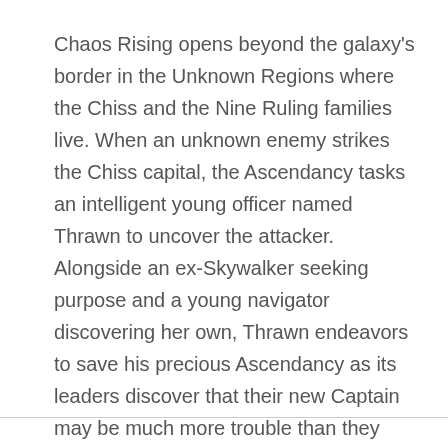Chaos Rising opens beyond the galaxy's border in the Unknown Regions where the Chiss and the Nine Ruling families live. When an unknown enemy strikes the Chiss capital, the Ascendancy tasks an intelligent young officer named Thrawn to uncover the attacker. Alongside an ex-Skywalker seeking purpose and a young navigator discovering her own, Thrawn endeavors to save his precious Ascendancy as its leaders discover that their new Captain may be much more trouble than they had ever conceived.